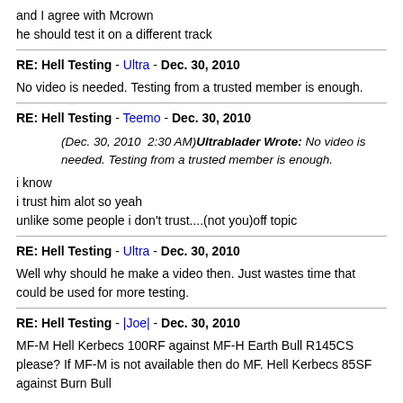and I agree with Mcrown
he should test it on a different track
RE: Hell Testing - Ultra - Dec. 30, 2010
No video is needed. Testing from a trusted member is enough.
RE: Hell Testing - Teemo - Dec. 30, 2010
(Dec. 30, 2010  2:30 AM)Ultrablader Wrote: No video is needed. Testing from a trusted member is enough.
i know
i trust him alot so yeah
unlike some people i don't trust....(not you)off topic
RE: Hell Testing - Ultra - Dec. 30, 2010
Well why should he make a video then. Just wastes time that could be used for more testing.
RE: Hell Testing - |Joe| - Dec. 30, 2010
MF-M Hell Kerbecs 100RF against MF-H Earth Bull R145CS please? If MF-M is not available then do MF. Hell Kerbecs 85SF against Burn Bull